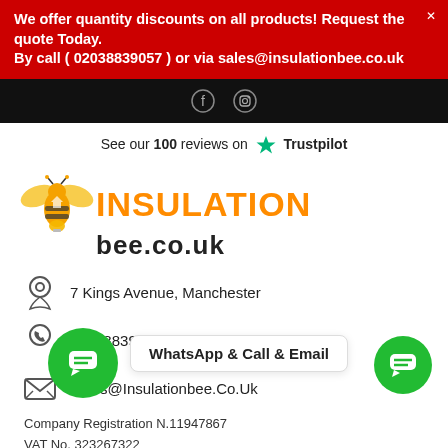We offer quantity discounts on all products! Request the quote Today.
By call ( 02038839057 ) or via sales@insulationbee.co.uk
[Figure (screenshot): Black navigation bar with Facebook and Instagram social icons]
See our 100 reviews on ★ Trustpilot
[Figure (logo): Insulation Bee logo with orange bee illustration and bold orange INSULATION text, black bee.co.uk below]
7 Kings Avenue, Manchester
02038839057
Sales@Insulationbee.Co.Uk
Company Registration N.11947867
VAT No. 323267322
WhatsApp & Call & Email